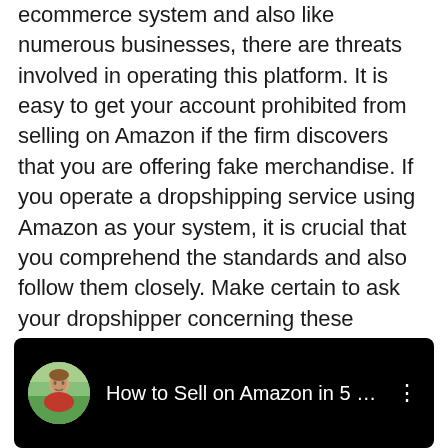Dropshipping is high risk. Amazon is an ecommerce system and also like numerous businesses, there are threats involved in operating this platform. It is easy to get your account prohibited from selling on Amazon if the firm discovers that you are offering fake merchandise. If you operate a dropshipping service using Amazon as your system, it is crucial that you comprehend the standards and also follow them closely. Make certain to ask your dropshipper concerning these dangers as well as do not be reluctant to call them must you decide that you can not proceed with the sale.
[Figure (screenshot): Video card with dark background showing a circular avatar thumbnail of a man in a red shirt with an outdoor background, and the title 'How to Sell on Amazon in 5 Ste...' with a three-dot menu icon on the right.]